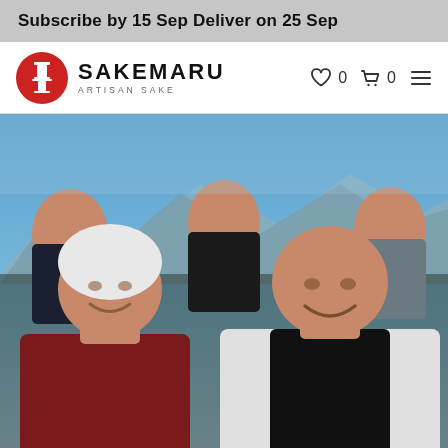Subscribe by 15 Sep Deliver on 25 Sep
[Figure (logo): Sakemaru Artisan Sake logo with red circular emblem and brand name]
[Figure (photo): Group photo of six people smiling outdoors with mountains and blue sky in background. Front row: woman with white beanie wearing dark red sweatshirt, man wearing black puffer vest over white/grey sweater. Back row: three men in casual jackets.]